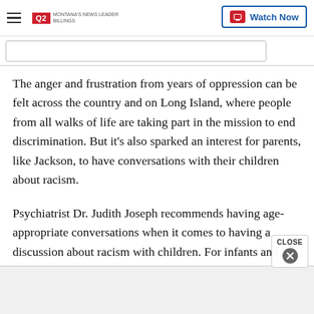Q2 MONTANA'S NEWS LEADER | Watch Now
The anger and frustration from years of oppression can be felt across the country and on Long Island, where people from all walks of life are taking part in the mission to end discrimination. But it's also sparked an interest for parents, like Jackson, to have conversations with their children about racism.
Psychiatrist Dr. Judith Joseph recommends having age-appropriate conversations when it comes to having a discussion about racism with children. For infants and toddlers, it begins with a simple hug, which says,